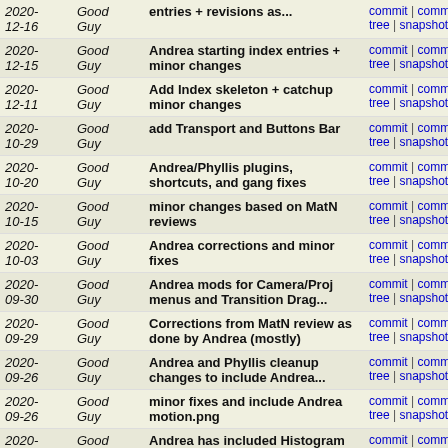| Date | Author | Message | Links |
| --- | --- | --- | --- |
| 2020-12-16 | Good Guy | entries + revisions as... | commit | commitdiff | tree | snapshot |
| 2020-12-15 | Good Guy | Andrea starting index entries + minor changes | commit | commitdiff | tree | snapshot |
| 2020-12-11 | Good Guy | Add Index skeleton + catchup minor changes | commit | commitdiff | tree | snapshot |
| 2020-10-29 | Good Guy | add Transport and Buttons Bar | commit | commitdiff | tree | snapshot |
| 2020-10-20 | Good Guy | Andrea/Phyllis plugins, shortcuts, and gang fixes | commit | commitdiff | tree | snapshot |
| 2020-10-15 | Good Guy | minor changes based on MatN reviews | commit | commitdiff | tree | snapshot |
| 2020-10-03 | Good Guy | Andrea corrections and minor fixes | commit | commitdiff | tree | snapshot |
| 2020-09-30 | Good Guy | Andrea mods for Camera/Proj menus and Transition Drag... | commit | commitdiff | tree | snapshot |
| 2020-09-29 | Good Guy | Corrections from MatN review as done by Andrea (mostly) | commit | commitdiff | tree | snapshot |
| 2020-09-26 | Good Guy | Andrea and Phyllis cleanup changes to include Andrea... | commit | commitdiff | tree | snapshot |
| 2020-09-26 | Good Guy | minor fixes and include Andrea motion.png | commit | commitdiff | tree | snapshot |
| 2020-09-25 | Good Guy | Andrea has included Histogram changes, Theme addition... | commit | commitdiff | tree | snapshot |
| 2020-09-21 | Good Guy | Andrea and Andrew corrections and changed placements | commit | commitdiff | tree | snapshot |
| 2020-09-19 | Good Guy | SGE changes to Motion improvements... | commit | commitdiff | tree | snapshot |